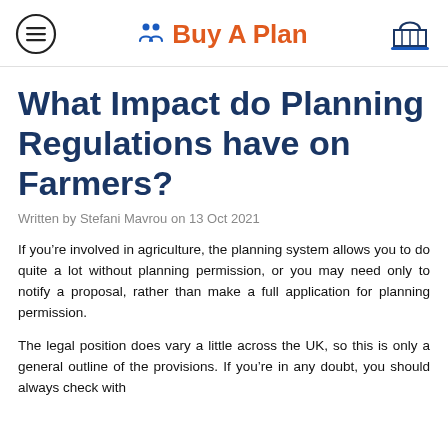Buy A Plan
What Impact do Planning Regulations have on Farmers?
Written by Stefani Mavrou on 13 Oct 2021
If you're involved in agriculture, the planning system allows you to do quite a lot without planning permission, or you may need only to notify a proposal, rather than make a full application for planning permission.
The legal position does vary a little across the UK, so this is only a general outline of the provisions. If you're in any doubt, you should always check with